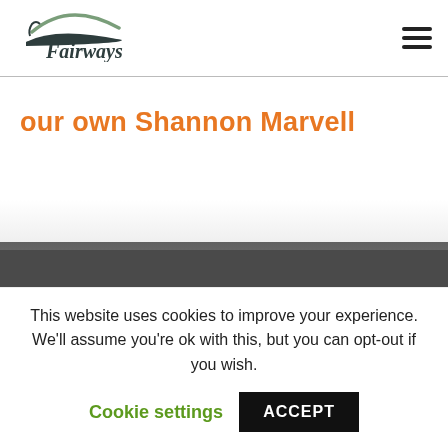[Figure (logo): Fairways logo with stylized arc above text]
our own Shannon Marvell
Sitemap
Home
This website uses cookies to improve your experience. We'll assume you're ok with this, but you can opt-out if you wish.
Cookie settings
ACCEPT